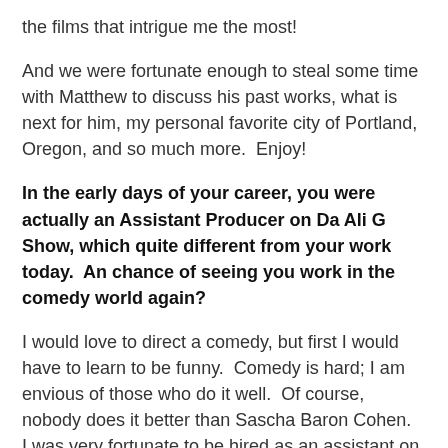the films that intrigue me the most!
And we were fortunate enough to steal some time with Matthew to discuss his past works, what is next for him, my personal favorite city of Portland, Oregon, and so much more.  Enjoy!
In the early days of your career, you were actually an Assistant Producer on Da Ali G Show, which quite different from your work today.  An chance of seeing you work in the comedy world again?
I would love to direct a comedy, but first I would have to learn to be funny.  Comedy is hard; I am envious of those who do it well.  Of course, nobody does it better than Sascha Baron Cohen.  I was very fortunate to be hired as an assistant on that shoot and to have the opportunity to